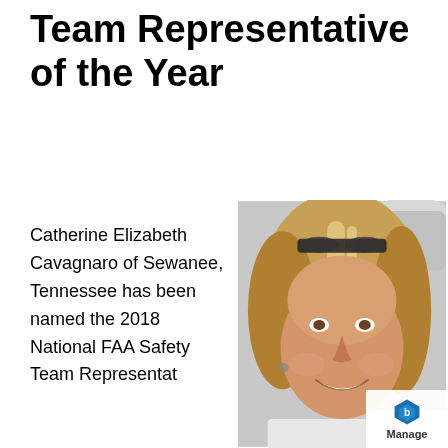Team Representative of the Year
Catherine Elizabeth Cavagnaro of Sewanee, Tennessee has been named the 2018 National FAA Safety Team Representat
[Figure (photo): Portrait photo of Catherine Elizabeth Cavagnaro, a blonde woman smiling, standing near a light-colored aircraft. She wears sunglasses on her head.]